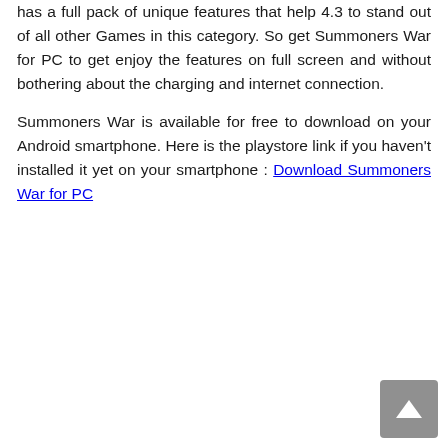has a full pack of unique features that help 4.3 to stand out of all other Games in this category. So get Summoners War for PC to get enjoy the features on full screen and without bothering about the charging and internet connection.

Summoners War is available for free to download on your Android smartphone. Here is the playstore link if you haven't installed it yet on your smartphone : Download Summoners War for PC